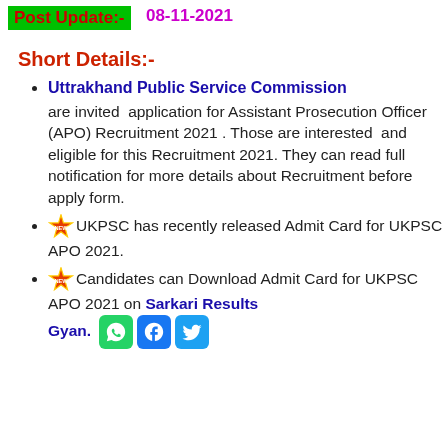Post Update:- 08-11-2021
Short Details:-
Uttrakhand Public Service Commission are invited application for Assistant Prosecution Officer (APO) Recruitment 2021 . Those are interested and eligible for this Recruitment 2021. They can read full notification for more details about Recruitment before apply form.
🌟NEW UKPSC has recently released Admit Card for UKPSC APO 2021.
🌟NEW Candidates can Download Admit Card for UKPSC APO 2021 on Sarkari Results Gyan.